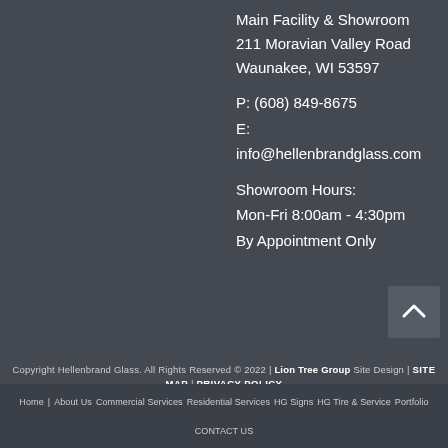Main Facility & Showroom
211 Moravian Valley Road
Waunakee, WI 53597
P: (608) 849-8675
E:
info@hellenbrandglass.com
Showroom Hours:
Mon-Fri 8:00am - 4:30pm
By Appointment Only
Copyright Hellenbrand Glass. All Rights Reserved © 2022 | Lion Tree Group Site Design | SITE MAP | PRIVACY POLICY
Home  About Us  Commercial Services  Residential Services  HG Signs  HG Tire & Service  Portfolio  CONTACT US